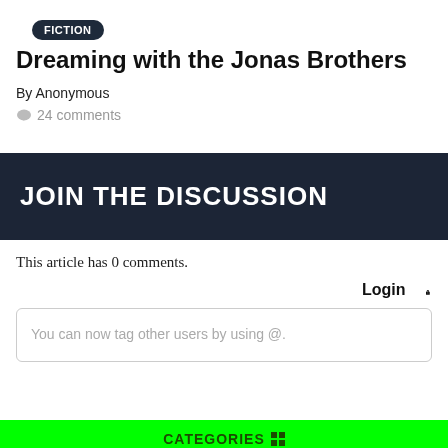[Figure (other): Small dark pill-shaped button/tag label]
Dreaming with the Jonas Brothers
By Anonymous
💬 24 comments
JOIN THE DISCUSSION
This article has 0 comments.
Login 🔑
You can now tag other users by using @.
CATEGORIES ⊞